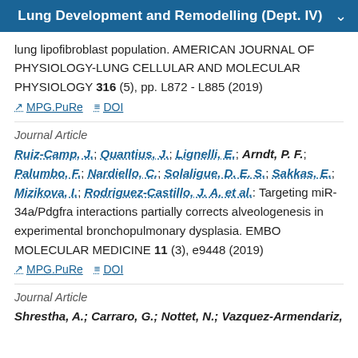Lung Development and Remodelling (Dept. IV)
lung lipofibroblast population. AMERICAN JOURNAL OF PHYSIOLOGY-LUNG CELLULAR AND MOLECULAR PHYSIOLOGY 316 (5), pp. L872 - L885 (2019)
MPG.PuRe   DOI
Journal Article
Ruiz-Camp, J.; Quantius, J.; Lignelli, E.; Arndt, P. F.; Palumbo, F.; Nardiello, C.; Solaligue, D. E. S.; Sakkas, E.; Mizikova, I.; Rodriguez-Castillo, J. A. et al.: Targeting miR-34a/Pdgfra interactions partially corrects alveologenesis in experimental bronchopulmonary dysplasia. EMBO MOLECULAR MEDICINE 11 (3), e9448 (2019)
MPG.PuRe   DOI
Journal Article
Shrestha, A.; Carraro, G.; Nottet, N.; Vazquez-Armendariz,